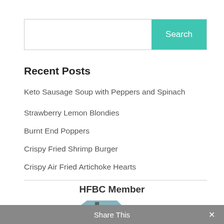[Figure (screenshot): Search bar with teal Search button]
Recent Posts
Keto Sausage Soup with Peppers and Spinach
Strawberry Lemon Blondies
Burnt End Poppers
Crispy Fried Shrimp Burger
Crispy Air Fried Artichoke Hearts
HFBC Member
[Figure (logo): Houston Food Blogger HFBC Member logo with Texas state silhouette]
Share This